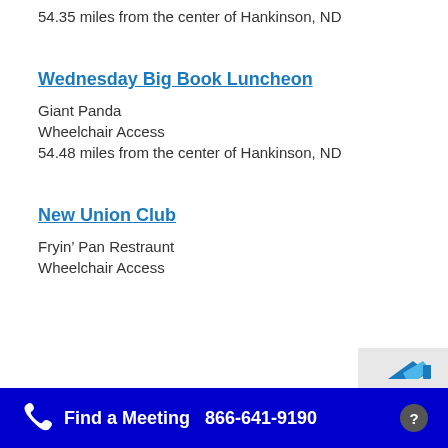54.35 miles from the center of Hankinson, ND
Wednesday Big Book Luncheon
Giant Panda
Wheelchair Access
54.48 miles from the center of Hankinson, ND
New Union Club
Fryin’ Pan Restraunt
Wheelchair Access
Find a Meeting  866-641-9190